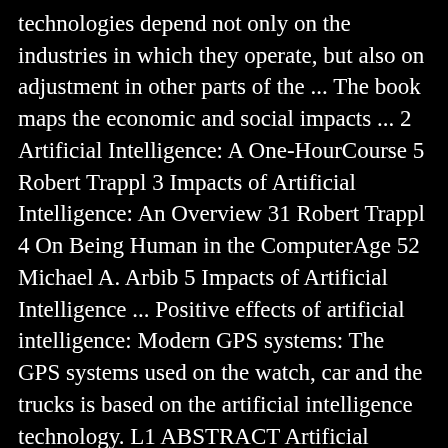technologies depend not only on the industries in which they operate, but also on adjustment in other parts of the ... The book maps the economic and social impacts ... 2 Artificial Intelligence: A One-HourCourse 5 Robert Trappl 3 Impacts of Artificial Intelligence: An Overview 31 Robert Trappl 4 On Being Human in the ComputerAge 52 Michael A. Arbib 5 Impacts of Artificial Intelligence ... Positive effects of artificial intelligence: Modern GPS systems: The GPS systems used on the watch, car and the trucks is based on the artificial intelligence technology. L1 ABSTRACT Artificial intelligence may greatly increase the efficiency of the existing economy. Artificial intelligence (AI) could improve human life and economic competitiveness—but it also poses new risks. It plays an important role in selecting ... The artificial intelligence (AI) landscape has evolved